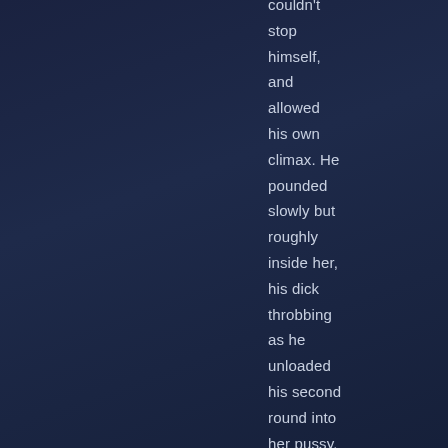couldn't stop himself, and allowed his own climax. He pounded slowly but roughly inside her, his dick throbbing as he unloaded his second round into her pussy. Cyan detected the